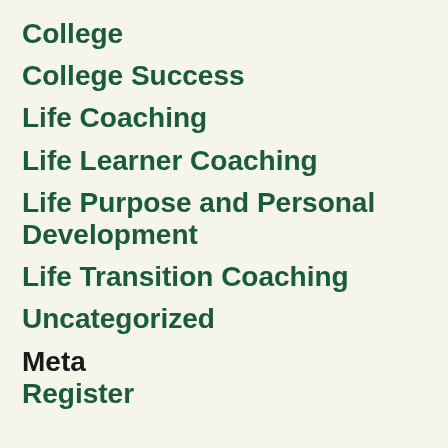College
College Success
Life Coaching
Life Learner Coaching
Life Purpose and Personal Development
Life Transition Coaching
Uncategorized
Meta
Register